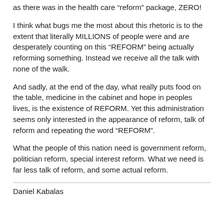as there was in the health care “reform” package, ZERO!
I think what bugs me the most about this rhetoric is to the extent that literally MILLIONS of people were and are desperately counting on this “REFORM” being actually reforming something. Instead we receive all the talk with none of the walk.
And sadly, at the end of the day, what really puts food on the table, medicine in the cabinet and hope in peoples lives, is the existence of REFORM. Yet this administration seems only interested in the appearance of reform, talk of reform and repeating the word “REFORM”.
What the people of this nation need is government reform, politician reform, special interest reform. What we need is far less talk of reform, and some actual reform.
Daniel Kabalas